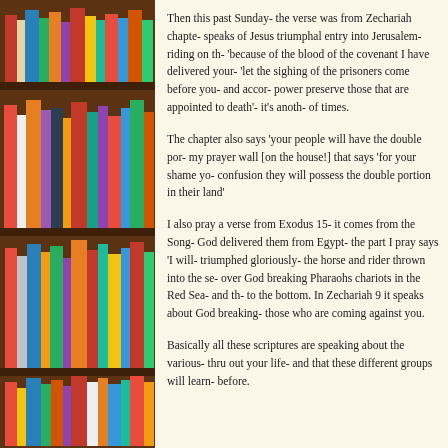[Figure (photo): Photo of colorful books on wooden bookshelves, occupying the left side of the page.]
Then this past Sunday- the verse was from Zechariah chapter- speaks of Jesus triumphal entry into Jerusalem- riding on th- 'because of the blood of the covenant I have delivered your- 'let the sighing of the prisoners come before you- and accor- power preserve those that are appointed to death'- it's anoth- of times.
The chapter also says 'your people will have the double por- my prayer wall [on the house!] that says 'for your shame yo- confusion they will possess the double portion in their land'
I also pray a verse from Exodus 15- it comes from the Song- God delivered them from Egypt- the part I pray says 'I will- triumphed gloriously- the horse and rider thrown into the se- over God breaking Pharaohs chariots in the Red Sea- and th- to the bottom. In Zechariah 9 it speaks about God breaking- those who are coming against you.
Basically all these scriptures are speaking about the various- thru out your life- and that these different groups will learn- before.